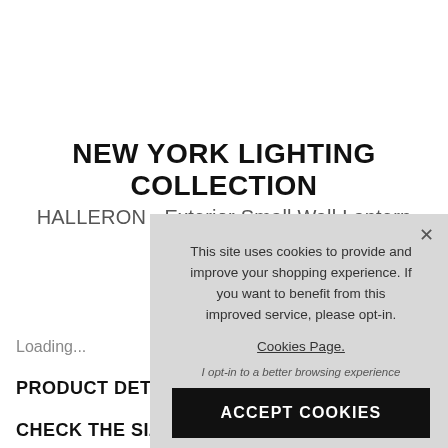NEW YORK LIGHTING COLLECTION
HALLERON - Exterior Small Wall Lantern
IP Rated
Loading...
PRODUCT DETAILS
CHECK THE SIZE &
This site uses cookies to provide and improve your shopping experience. If you want to benefit from this improved service, please opt-in. Cookies Page. I opt-in to a better browsing experience ACCEPT COOKIES